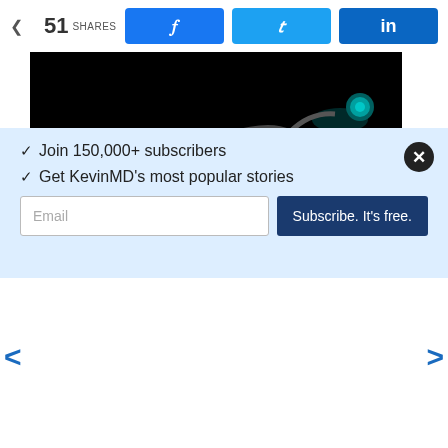51 SHARES | Facebook | Twitter | LinkedIn
[Figure (photo): Dark photo of a teal/cyan stethoscope on black background]
Who gets to go to medical school?
HEIDI CHUMLEY, MD, PHD | EDUCATION
RECENT POSTS
[Figure (photo): Photo of a stethoscope on grey background]
✓ Join 150,000+ subscribers
✓ Get KevinMD's most popular stories
Email — Subscribe. It's free.